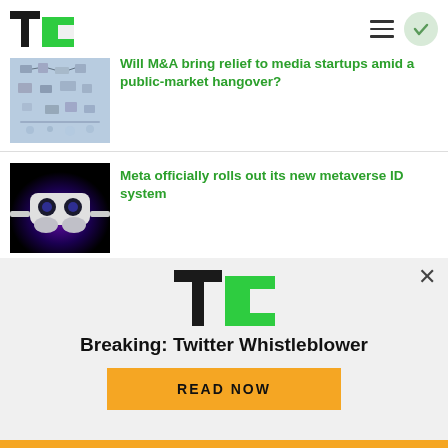[Figure (screenshot): TechCrunch logo in header - black T and green C]
Will M&A bring relief to media startups amid a public-market hangover?
Meta officially rolls out its new metaverse ID system
Solana's speedy approach to crypto is attracting developers, despite hiccups
[Figure (screenshot): TechCrunch notification banner with TC logo, headline 'Breaking: Twitter Whistleblower', and READ NOW button]
Breaking: Twitter Whistleblower
READ NOW